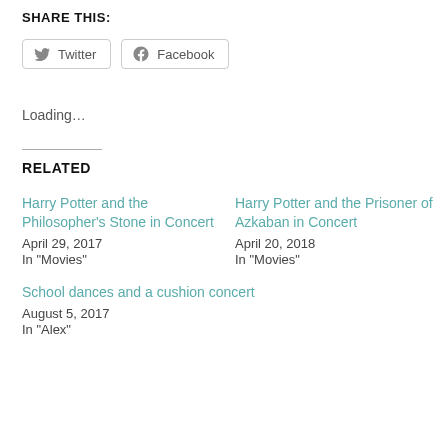SHARE THIS:
Twitter  Facebook (share buttons)
Loading...
RELATED
Harry Potter and the Philosopher's Stone in Concert
April 29, 2017
In "Movies"
Harry Potter and the Prisoner of Azkaban in Concert
April 20, 2018
In "Movies"
School dances and a cushion concert
August 5, 2017
In "Alex"